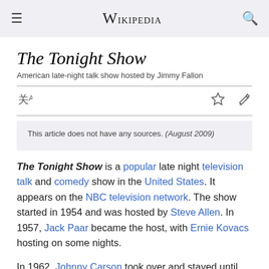≡ WIKIPEDIA 🔍
The Tonight Show
American late-night talk show hosted by Jimmy Fallon
This article does not have any sources. (August 2009)
The Tonight Show is a popular late night television talk and comedy show in the United States. It appears on the NBC television network. The show started in 1954 and was hosted by Steve Allen. In 1957, Jack Paar became the host, with Ernie Kovacs hosting on some nights.
In 1962, Johnny Carson took over and stayed until 1992, with announcer Ed McMahon as sidekick, and Doc